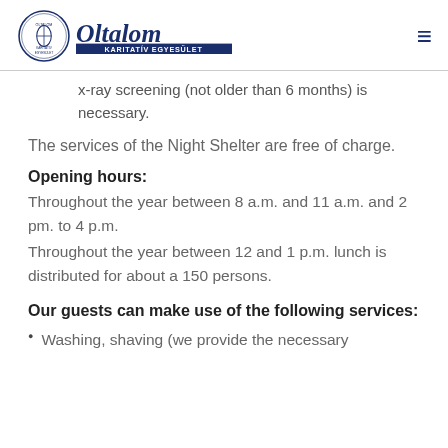[Figure (logo): Oltalom Karitatív Egyesület logo with circular emblem and stylized text]
x-ray screening (not older than 6 months) is necessary.
The services of the Night Shelter are free of charge.
Opening hours:
Throughout the year between 8 a.m. and 11 a.m. and 2 pm. to 4 p.m.
Throughout the year between 12 and 1 p.m. lunch is distributed for about a 150 persons.
Our guests can make use of the following services:
Washing, shaving (we provide the necessary...